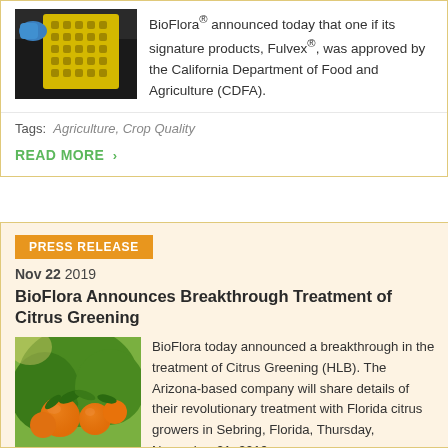[Figure (photo): Person with blue gloves handling a yellow laboratory tray/rack with small wells]
BioFlora® announced today that one if its signature products, Fulvex®, was approved by the California Department of Food and Agriculture (CDFA).
Tags: Agriculture, Crop Quality
READ MORE >
PRESS RELEASE
Nov 22 2019
BioFlora Announces Breakthrough Treatment of Citrus Greening
[Figure (photo): Close-up photo of orange citrus fruits growing on a tree with green leaves]
BioFlora today announced a breakthrough in the treatment of Citrus Greening (HLB). The Arizona-based company will share details of their revolutionary treatment with Florida citrus growers in Sebring, Florida, Thursday, November 21, 2019. HLB is currently found in every commercial